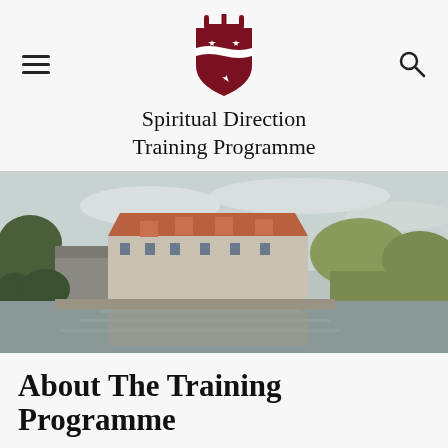[Figure (logo): Heraldic shield crest with crown, stars, and chevron in dark maroon/red]
Spiritual Direction
Training Programme
[Figure (photo): Exterior photo of a large historic building with red-tiled roof beside a river, surrounded by trees, under a cloudy sky]
About The Training Programme